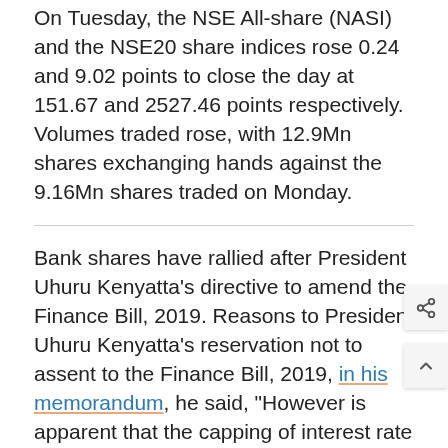On Tuesday, the NSE All-share (NASI) and the NSE20 share indices rose 0.24 and 9.02 points to close the day at 151.67 and 2527.46 points respectively. Volumes traded rose, with 12.9Mn shares exchanging hands against the 9.16Mn shares traded on Monday.
Bank shares have rallied after President Uhuru Kenyatta's directive to amend the Finance Bill, 2019. Reasons to President Uhuru Kenyatta's reservation not to assent to the Finance Bill, 2019, in his memorandum, he said, "However is apparent that the capping of interest rate has caused unintended effects that are significant and damaging to our economy and in